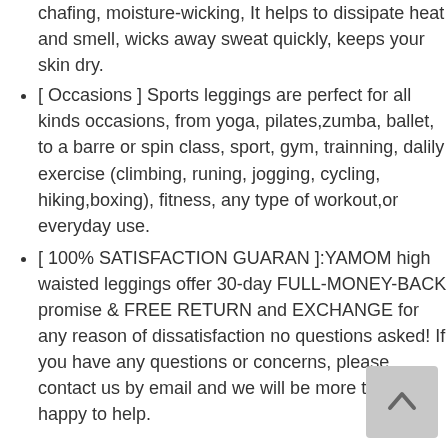chafing, moisture-wicking, It helps to dissipate heat and smell, wicks away sweat quickly, keeps your skin dry.
[ Occasions ] Sports leggings are perfect for all kinds occasions, from yoga, pilates,zumba, ballet, to a barre or spin class, sport, gym, trainning, dalily exercise (climbing, runing, jogging, cycling, hiking,boxing), fitness, any type of workout,or everyday use.
[ 100% SATISFACTION GUARAN ]:YAMOM high waisted leggings offer 30-day FULL-MONEY-BACK promise & FREE RETURN and EXCHANGE for any reason of dissatisfaction no questions asked! If you have any questions or concerns, please contact us by email and we will be more than happy to help.